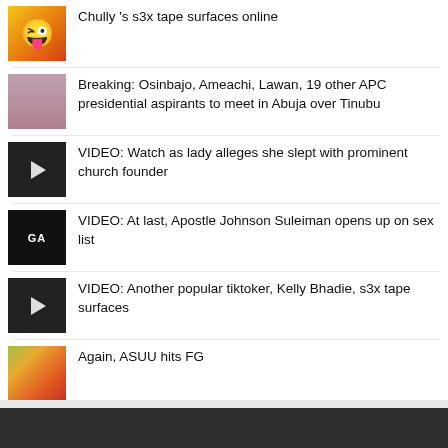Chully 's s3x tape surfaces online
Breaking: Osinbajo, Ameachi, Lawan, 19 other APC presidential aspirants to meet in Abuja over Tinubu
VIDEO: Watch as lady alleges she slept with prominent church founder
VIDEO: At last, Apostle Johnson Suleiman opens up on sex list
VIDEO: Another popular tiktoker, Kelly Bhadie, s3x tape surfaces
Again, ASUU hits FG